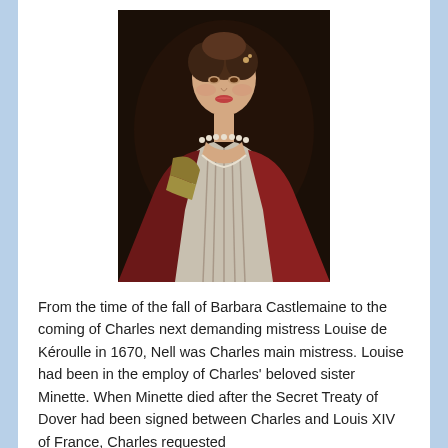[Figure (photo): Portrait painting of a woman in 17th century dress, wearing a pearl necklace, low-cut white and red gown, with dark upswept hair, against a dark oval background.]
From the time of the fall of Barbara Castlemaine to the coming of Charles next demanding mistress Louise de Kéroulle in 1670, Nell was Charles main mistress. Louise had been in the employ of Charles' beloved sister Minette. When Minette died after the Secret Treaty of Dover had been signed between Charles and Louis XIV of France, Charles requested